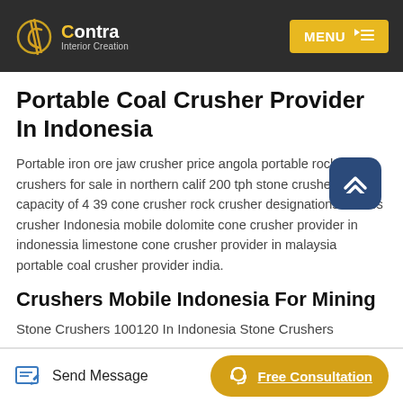Contra Interior Creation | MENU
Portable Coal Crusher Provider In Indonesia
Portable iron ore jaw crusher price angola portable rock crushers for sale in northern calif 200 tph stone crusher design capacity of 4 39 cone crusher rock crusher designations Stones crusher Indonesia mobile dolomite cone crusher provider in indonessia limestone cone crusher provider in malaysia portable coal crusher provider india.
Crushers Mobile Indonesia For Mining
Stone Crushers 100120 In Indonesia Stone Crushers
Send Message | Free Consultation